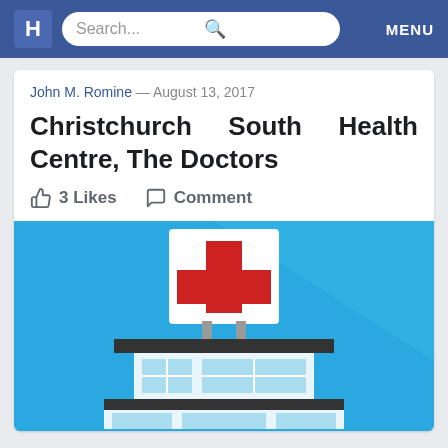H  Search...  MENU
John M. Romine — August 13, 2017
Christchurch South Health Centre, The Doctors
3 Likes   Comment
[Figure (illustration): Flat illustration of a hospital building with a red cross sign on top, set against a blue background. The building has multiple floors with windows visible.]